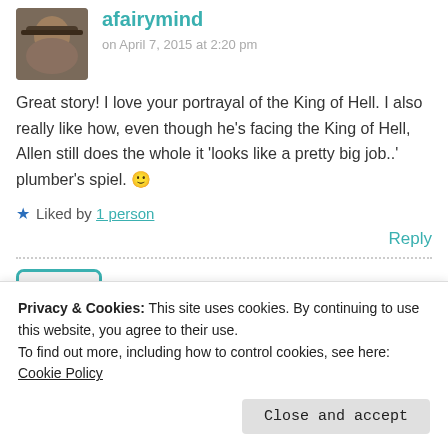[Figure (photo): Avatar photo of user afairymind: person wearing a hat, small square thumbnail]
afairymind
on April 7, 2015 at 2:20 pm
Great story! I love your portrayal of the King of Hell. I also really like how, even though he's facing the King of Hell, Allen still does the whole it 'looks like a pretty big job..' plumber's spiel. 🙂
★ Liked by 1 person
Reply
[Figure (photo): Avatar photo of user Tastyniblets: colorful candies in a cup, square thumbnail with teal border]
Tastyniblets
Privacy & Cookies: This site uses cookies. By continuing to use this website, you agree to their use.
To find out more, including how to control cookies, see here: Cookie Policy
Close and accept